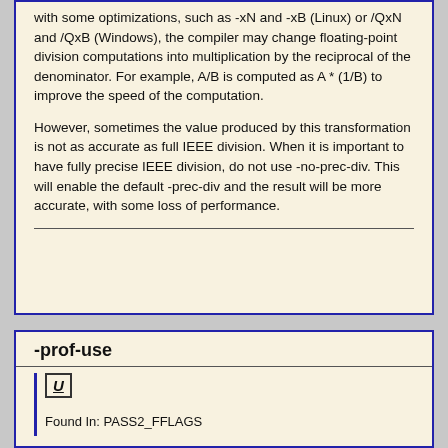with some optimizations, such as -xN and -xB (Linux) or /QxN and /QxB (Windows), the compiler may change floating-point division computations into multiplication by the reciprocal of the denominator. For example, A/B is computed as A * (1/B) to improve the speed of the computation.
However, sometimes the value produced by this transformation is not as accurate as full IEEE division. When it is important to have fully precise IEEE division, do not use -no-prec-div. This will enable the default -prec-div and the result will be more accurate, with some loss of performance.
-prof-use
U
Found In: PASS2_FFLAGS